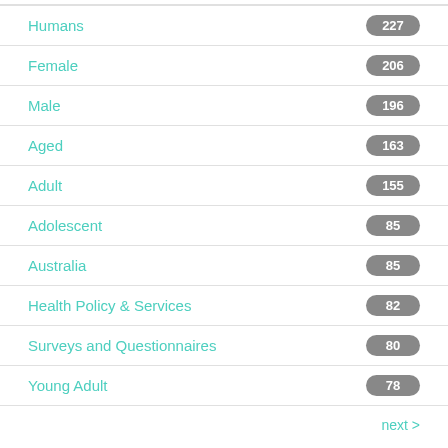Humans
Female
Male
Aged
Adult
Adolescent
Australia
Health Policy & Services
Surveys and Questionnaires
Young Adult
next >